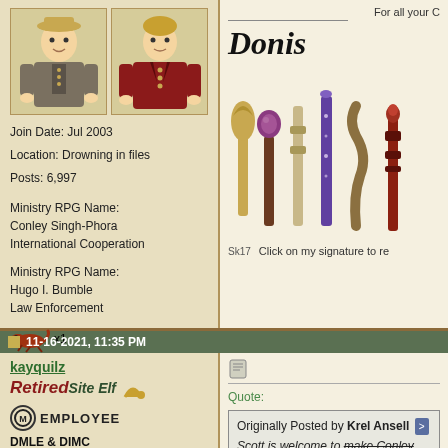[Figure (illustration): Two cartoon character avatars side by side in a beige box]
Join Date: Jul 2003
Location: Drowning in files
Posts: 6,997
Ministry RPG Name:
Conley Singh-Phora
International Cooperation
Ministry RPG Name:
Hugo I. Bumble
Law Enforcement
[Figure (illustration): Small red salamander icon x1]
[Figure (illustration): Wand shop advertisement with multiple illustrated wands]
For all your C
Doni
Sk17  Click on my signature to re
11-16-2021, 11:35 PM
kayquilz
Retired Site Elf
[Figure (illustration): Employee badge with circle M logo]
DMLE & DIMC
[Figure (illustration): Slytherin and Gryffindor house badges]
Granian
[Figure (illustration): Post icon/edit button]
Quote:
Originally Posted by Krel Ansell
Scott is welcome to make Conley later join
give me a quick rundown of what's going on th